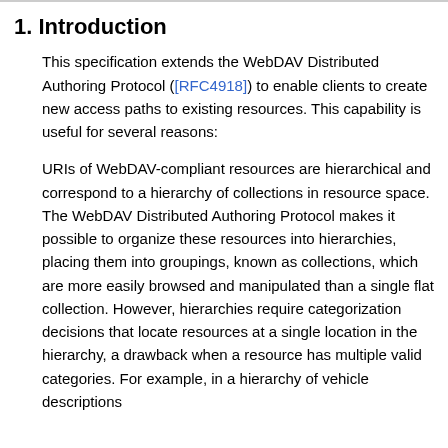1. Introduction
This specification extends the WebDAV Distributed Authoring Protocol ([RFC4918]) to enable clients to create new access paths to existing resources. This capability is useful for several reasons:
URIs of WebDAV-compliant resources are hierarchical and correspond to a hierarchy of collections in resource space. The WebDAV Distributed Authoring Protocol makes it possible to organize these resources into hierarchies, placing them into groupings, known as collections, which are more easily browsed and manipulated than a single flat collection. However, hierarchies require categorization decisions that locate resources at a single location in the hierarchy, a drawback when a resource has multiple valid categories. For example, in a hierarchy of vehicle descriptions